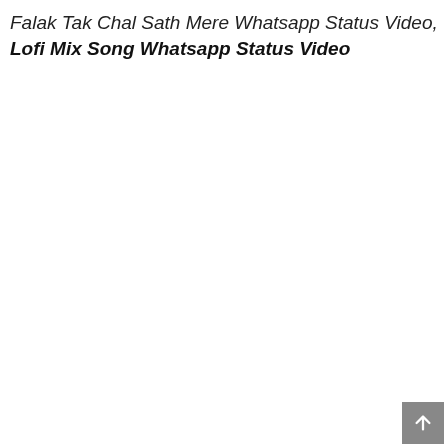Falak Tak Chal Sath Mere Whatsapp Status Video, Lofi Mix Song Whatsapp Status Video